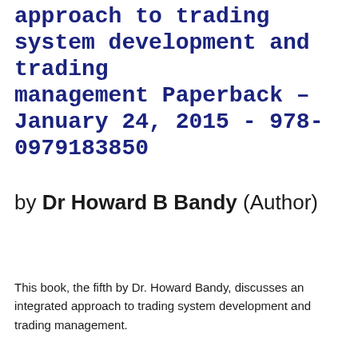approach to trading system development and trading management Paperback – January 24, 2015 - 978-0979183850
by Dr Howard B Bandy (Author)
This book, the fifth by Dr. Howard Bandy, discusses an integrated approach to trading system development and trading management.